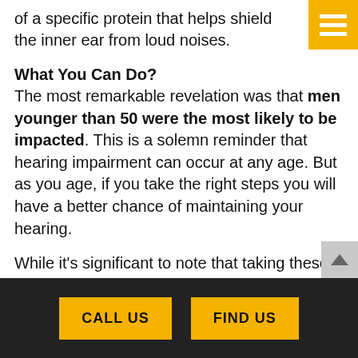of a specific protein that helps shield the inner ear from loud noises.
What You Can Do?
The most remarkable revelation was that men younger than 50 were the most likely to be impacted. This is a solemn reminder that hearing impairment can occur at any age. But as you age, if you take the right steps you will have a better chance of maintaining your hearing.
While it's significant to note that taking these pain relievers can have some unfavorable
[Figure (other): Yellow square menu icon with three white horizontal bars in top right corner]
[Figure (other): Gray scroll-to-top button with upward arrow on right side]
CALL US   FIND US